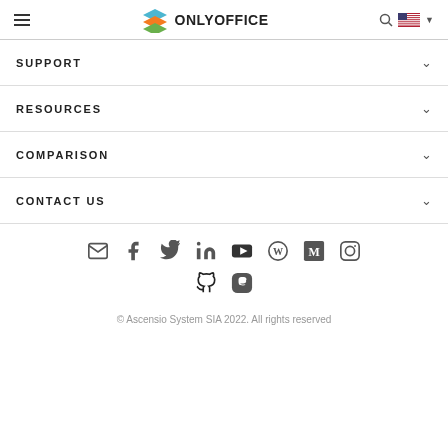ONLYOFFICE
SUPPORT
RESOURCES
COMPARISON
CONTACT US
[Figure (illustration): Social media icons: email, facebook, twitter, linkedin, youtube, wordpress, medium, instagram, github, mastodon]
© Ascensio System SIA 2022. All rights reserved